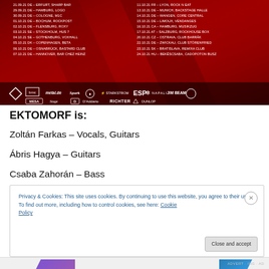[Figure (photo): Tour poster with dark red background showing concert tour dates across European cities in white text, with sponsor logos at the bottom including metal.de, Spark, ESP, D'Addario, Richter, Mesa, Jim Beam and others.]
EKTOMORF is:
Zoltán Farkas – Vocals, Guitars
Ábris Hagya – Guitars
Csaba Zahorán – Bass
Privacy & Cookies: This site uses cookies. By continuing to use this website, you agree to their use.
To find out more, including how to control cookies, see here: Cookie Policy